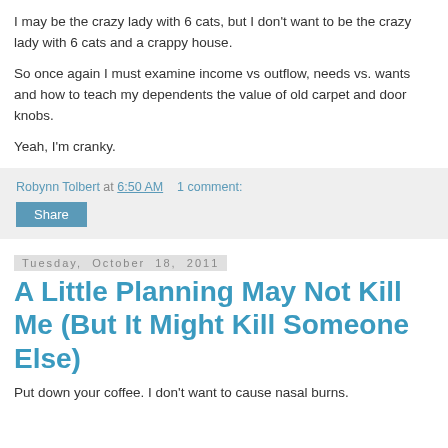I may be the crazy lady with 6 cats, but I don't want to be the crazy lady with 6 cats and a crappy house.
So once again I must examine income vs outflow, needs vs. wants and how to teach my dependents the value of old carpet and door knobs.
Yeah, I'm cranky.
Robynn Tolbert at 6:50 AM   1 comment:
Share
Tuesday, October 18, 2011
A Little Planning May Not Kill Me (But It Might Kill Someone Else)
Put down your coffee. I don't want to cause nasal burns.